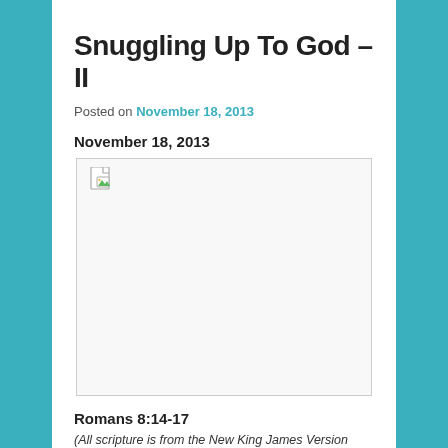Snuggling Up To God – II
Posted on November 18, 2013
November 18, 2013
[Figure (photo): Broken/missing image placeholder with a small image icon in the top-left corner]
Romans 8:14-17
(All scripture is from the New King James Version unless